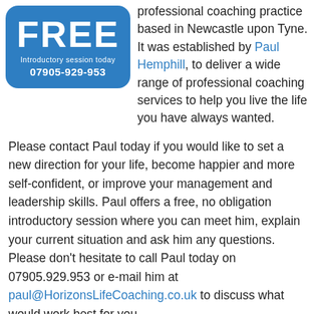[Figure (other): Blue rounded rectangle badge with 'FREE' in large white bold text, 'Introductory session today' below, and phone number '07905-929-953' at the bottom, all in white text on a blue background.]
professional coaching practice based in Newcastle upon Tyne. It was established by Paul Hemphill, to deliver a wide range of professional coaching services to help you live the life you have always wanted.
Please contact Paul today if you would like to set a new direction for your life, become happier and more self-confident, or improve your management and leadership skills. Paul offers a free, no obligation introductory session where you can meet him, explain your current situation and ask him any questions. Please don't hesitate to call Paul today on 07905.929.953 or e-mail him at paul@HorizonsLifeCoaching.co.uk to discuss what would work best for you.